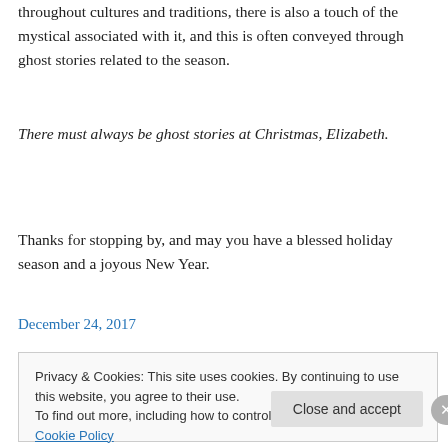throughout cultures and traditions, there is also a touch of the mystical associated with it, and this is often conveyed through ghost stories related to the season.
There must always be ghost stories at Christmas, Elizabeth.
Thanks for stopping by, and may you have a blessed holiday season and a joyous New Year.
December 24, 2017
Privacy & Cookies: This site uses cookies. By continuing to use this website, you agree to their use. To find out more, including how to control cookies, see here: Cookie Policy